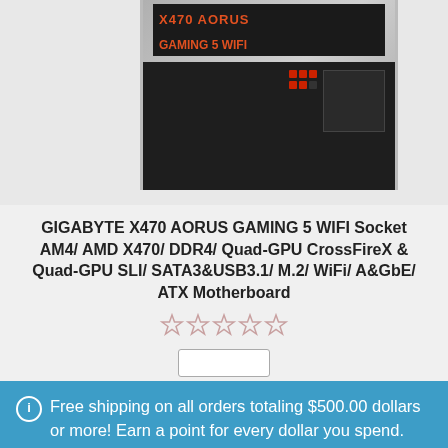[Figure (photo): Product image area showing GIGABYTE X470 AORUS GAMING 5 WIFI motherboard box and board partially visible, cropped at top]
GIGABYTE X470 AORUS GAMING 5 WIFI Socket AM4/ AMD X470/ DDR4/ Quad-GPU CrossFireX & Quad-GPU SLI/ SATA3&USB3.1/ M.2/ WiFi/ A&GbE/ ATX Motherboard
Free shipping on all orders totaling $500.00 dollars or more! Earn a point for every dollar you spend. 500 points gives a $30.00 dollar off coupon, so sign up today and receive 50 points automatically!
Dismiss